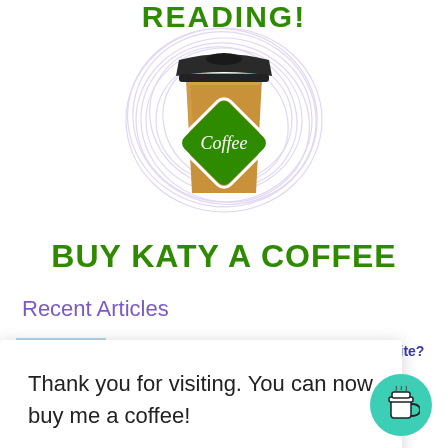READING!
[Figure (illustration): Coffee cup illustration with swirling lavender circles background, brown takeaway cup with green diamond Coffee label and black lid]
BUY KATY A COFFEE
Recent Articles
[Figure (screenshot): Article thumbnail: light blue background with SVG robot/mascot graphic and orange SVG label at bottom]
Why You Should Use SVGs On Your Website?
Thank you for visiting. You can now buy me a coffee!
[Figure (illustration): Teal circular button with white coffee cup icon]